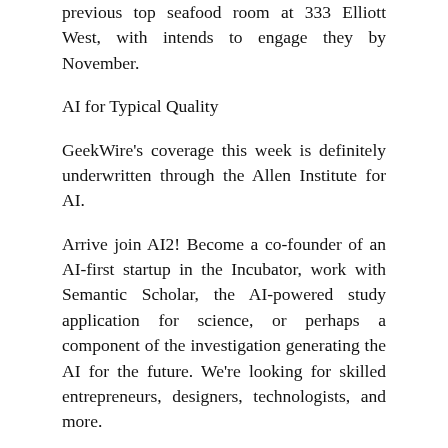previous top seafood room at 333 Elliott West, with intends to engage they by November.
AI for Typical Quality
GeekWire's coverage this week is definitely underwritten through the Allen Institute for AI.
Arrive join AI2! Become a co-founder of an AI-first startup in the Incubator, work with Semantic Scholar, the AI-powered study application for science, or perhaps a component of the investigation generating the AI for the future. We're looking for skilled entrepreneurs, designers, technologists, and more.
⬛⬛⬛⬛⬛⬛⬛⬛⬛
⬛⬛⬛⬛ » Immense Fish activities migrates to unique HQ, with intends to reel in ideal talent with attractive space